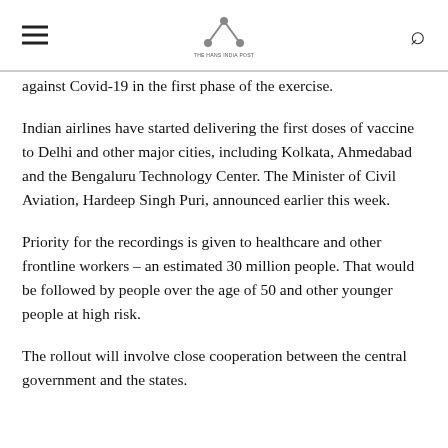[hamburger menu] [logo: The Hans India Post] [search icon]
against Covid-19 in the first phase of the exercise.
Indian airlines have started delivering the first doses of vaccine to Delhi and other major cities, including Kolkata, Ahmedabad and the Bengaluru Technology Center. The Minister of Civil Aviation, Hardeep Singh Puri, announced earlier this week.
Priority for the recordings is given to healthcare and other frontline workers – an estimated 30 million people. That would be followed by people over the age of 50 and other younger people at high risk.
The rollout will involve close cooperation between the central government and the states.